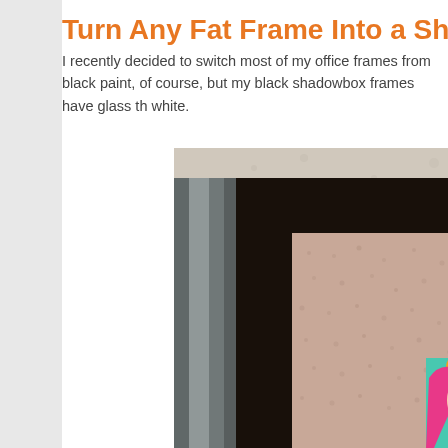Turn Any Fat Frame Into a Sh
I recently decided to switch most of my office frames from black paint, of course, but my black shadowbox frames have glass th white.
[Figure (photo): A close-up photo of a dark brown shadowbox frame mounted on a textured wall. The frame has a metallic gray edge on the left side. Inside the shadowbox is a pink/beige dotted mat board, and in the lower right corner is a colorful artwork featuring a woman with bright pink flowing hair.]